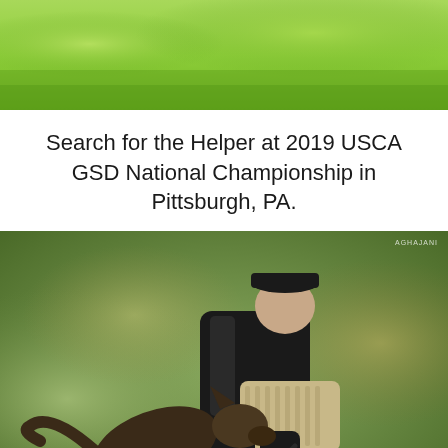[Figure (photo): Top portion of an outdoor photo showing green grass field background, blurred/bokeh]
Search for the Helper at 2019 USCA GSD National Championship in Pittsburgh, PA.
[Figure (photo): A dog handler/helper in black jacket and cap wearing a padded bite sleeve, crouching down as a German Shepherd dog bites the sleeve. Outdoor competition setting with blurred green and autumn-colored background. Photographer credit: AGHAJANI. Privacy and Terms badge visible in bottom right corner.]